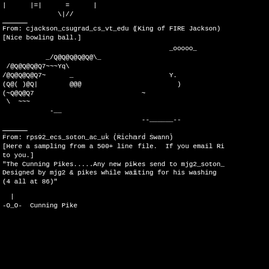[Figure (other): ASCII art top portion showing partial figure with \|// characters]
From: cjackson_csugrad_cs_vt_edu (King of FIRE Jackson)
[Nice bowling ball.]
[Figure (other): ASCII art bowling ball figure made of @ and Q characters with _ooooo_ at top right]
From: rps92_ecs_soton_ac_uk (Richard Swann)
[Here a sampling from a 500+ line file.  If you email Ri to you.]
"The Cunning Pikes.....Any new pikes send to mjg2_soton_ Designed by mjg2 & pikes while waiting for his washing (4 all at 86)"
[Figure (other): ASCII art Cunning Pike figure: | on top, -O_O- Cunning Pike label below]